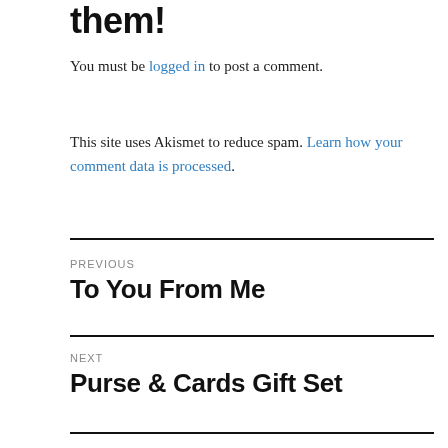them!
You must be logged in to post a comment.
This site uses Akismet to reduce spam. Learn how your comment data is processed.
PREVIOUS
To You From Me
NEXT
Purse & Cards Gift Set